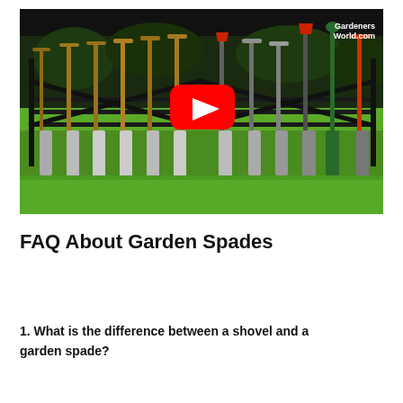[Figure (screenshot): YouTube video thumbnail showing a row of garden spades and shovels leaning against a metal fence on grass, with a red YouTube play button in the center and 'GardenersWorld.com' watermark in the top right corner.]
FAQ About Garden Spades
1. What is the difference between a shovel and a garden spade?